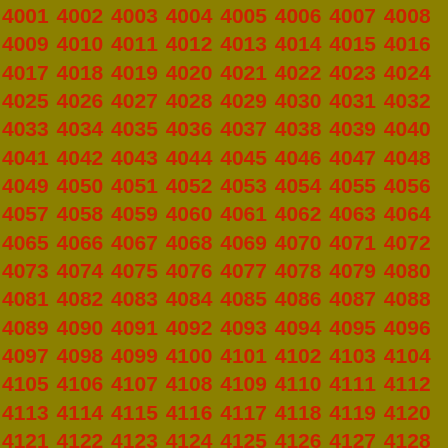4001 4002 4003 4004 4005 4006 4007 4008 4009 4010 4011 4012 4013 4014 4015 4016 4017 4018 4019 4020 4021 4022 4023 4024 4025 4026 4027 4028 4029 4030 4031 4032 4033 4034 4035 4036 4037 4038 4039 4040 4041 4042 4043 4044 4045 4046 4047 4048 4049 4050 4051 4052 4053 4054 4055 4056 4057 4058 4059 4060 4061 4062 4063 4064 4065 4066 4067 4068 4069 4070 4071 4072 4073 4074 4075 4076 4077 4078 4079 4080 4081 4082 4083 4084 4085 4086 4087 4088 4089 4090 4091 4092 4093 4094 4095 4096 4097 4098 4099 4100 4101 4102 4103 4104 4105 4106 4107 4108 4109 4110 4111 4112 4113 4114 4115 4116 4117 4118 4119 4120 4121 4122 4123 4124 4125 4126 4127 4128 4129 4130 4131 4132 4133 4134 4135 4136 4137 4138 4139 4140 4141 4142 4143 4144 4145 4146 4147 4148 4149 4150 4151 4152 4153 4154 4155 4156 4157 4158 4159 4160 4161 4162 4163 4164 4165 4166 4167 4168 4169 4170 4171 4172 4173 4174 4175 4176 4177 4178 4179 4180 4181 4182 4183 4184 4185 4186 4187 4188 4189 4190 4191 4192 4193 4194 4195 4196 4197 4198 4199 4200 4201 4202 4203 4204 4205 4206 4207 4208 4209 4210 4211 4212 4213 4214 4215 4216 4217 4218 4219 4220 4221 4222 4223 4224 4225 4226 4227 4228 4229 4230 4231 4232 4233 4234 4235 4236 4237 4238 4239 4240 4241 4242 4243 4244 4245 4246 4247 4248 4249 4250 4251 4252 4253 4254 4255 4256 4257 4258 4259 4260 4261 4262 4263 4264 4265 4266 4267 4268 4269 4270 4271 4272 4273 4274 4275 4276 4277 4278 4279 4280 4281 4282 4283 4284 4285 4286 4287 4288 4289 4290 4291 4292 4293 4294 4295 4296 4297 4298 4299 4300 4301 4302 4303 4304 4305 4306 4307 4308 4309 4310 4311 4312 4313 4314 4315 4316 4317 4318 4319 4320 4321 4322 4323 4324 4325 4326 4327 4328 4329 4330 4331 4332 4333 4334 4335 4336 4337 4338 4339 4340 4341 4342 4343